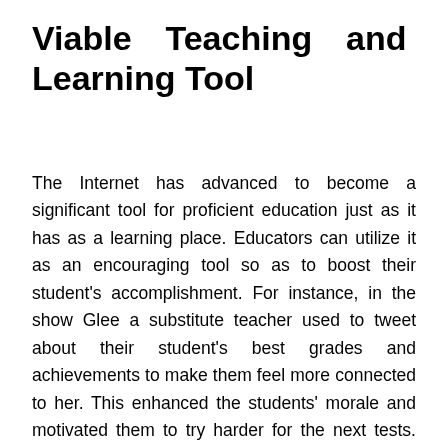Viable Teaching and Learning Tool
The Internet has advanced to become a significant tool for proficient education just as it has as a learning place. Educators can utilize it as an encouraging tool so as to boost their student's accomplishment. For instance, in the show Glee a substitute teacher used to tweet about their student's best grades and achievements to make them feel more connected to her. This enhanced the students' morale and motivated them to try harder for the next tests. The learning procedure gets intriguing when entwined with internet itself. Instructors can educate and peak their student's interests by using animated images or videos, powerpoint slides, and simple pictures to catch the students' attention.